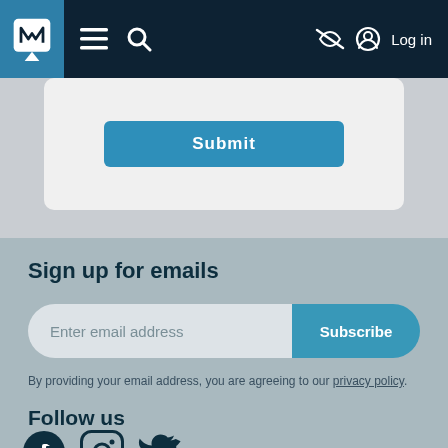[Figure (screenshot): Navigation bar with M logo, hamburger menu, search icon, eye-slash icon, and Log in button on dark navy background]
[Figure (screenshot): White card with blue Submit button partially visible]
Sign up for emails
[Figure (screenshot): Email input field with placeholder 'Enter email address' and blue Subscribe button]
By providing your email address, you are agreeing to our privacy policy.
Follow us
[Figure (screenshot): Social media icons: Facebook, Instagram, Twitter]